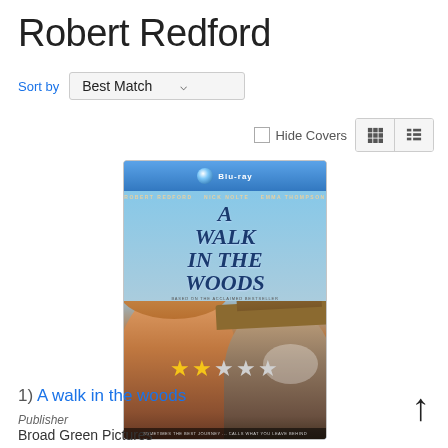Robert Redford
Sort by  Best Match
Hide Covers
[Figure (photo): Blu-ray cover of 'A Walk in the Woods' featuring Robert Redford and Nick Nolte]
★★☆☆☆
1) A walk in the woods
Publisher
Broad Green Pictures